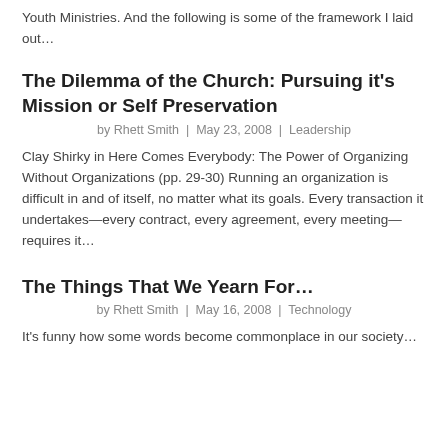Youth Ministries. And the following is some of the framework I laid out…
The Dilemma of the Church: Pursuing it's Mission or Self Preservation
by Rhett Smith | May 23, 2008 | Leadership
Clay Shirky in Here Comes Everybody: The Power of Organizing Without Organizations (pp. 29-30) Running an organization is difficult in and of itself, no matter what its goals. Every transaction it undertakes—every contract, every agreement, every meeting—requires it…
The Things That We Yearn For…
by Rhett Smith | May 16, 2008 | Technology
It's funny how some words become commonplace in our society…